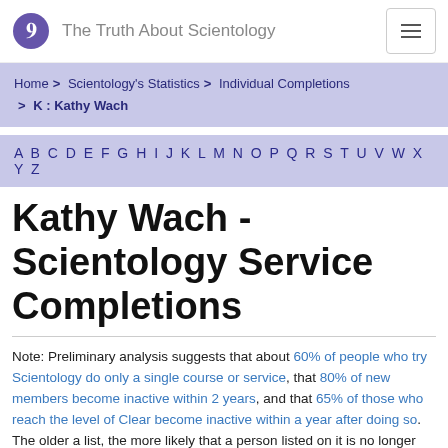The Truth About Scientology
Home > Scientology's Statistics > Individual Completions > K : Kathy Wach
A B C D E F G H I J K L M N O P Q R S T U V W X Y Z
Kathy Wach - Scientology Service Completions
Note: Preliminary analysis suggests that about 60% of people who try Scientology do only a single course or service, that 80% of new members become inactive within 2 years, and that 65% of those who reach the level of Clear become inactive within a year after doing so. The older a list, the more likely that a person listed on it is no longer involved in Scientology. Please read About These Lists for more information.